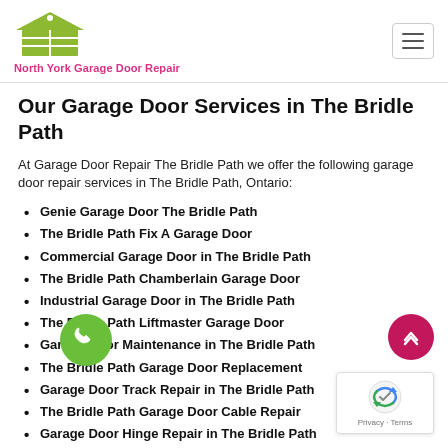North York Garage Door Repair
Our Garage Door Services in The Bridle Path
At Garage Door Repair The Bridle Path we offer the following garage door repair services in The Bridle Path, Ontario:
Genie Garage Door The Bridle Path
The Bridle Path Fix A Garage Door
Commercial Garage Door in The Bridle Path
The Bridle Path Chamberlain Garage Door
Industrial Garage Door in The Bridle Path
The Bridle Path Liftmaster Garage Door
Garage Door Maintenance in The Bridle Path
The Bridle Path Garage Door Replacement
Garage Door Track Repair in The Bridle Path
The Bridle Path Garage Door Cable Repair
Garage Door Hinge Repair in The Bridle Path
The Bridle Path Garage Door Installation
Garage Door Motor Repair in The Bridle Path
The Bridle Path Garage Door Panel Repair